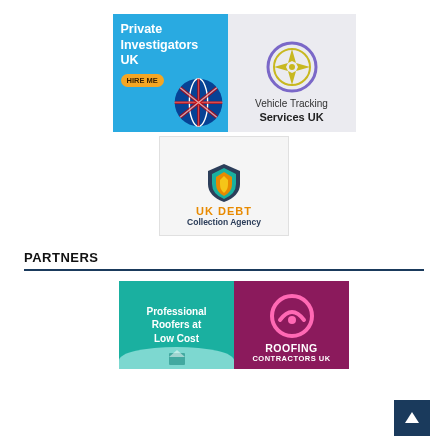[Figure (logo): Private Investigators UK – blue background with 'HIRE ME' button and UK globe graphic]
[Figure (logo): Vehicle Tracking Services UK – light grey background with compass/crosshair logo]
[Figure (logo): UK DEBT Collection Agency – shield logo with orange and dark blue text]
PARTNERS
[Figure (logo): Professional Roofers at Low Cost – teal background with white text]
[Figure (logo): Roofing Contractors UK – purple/magenta background with pink circular roof logo]